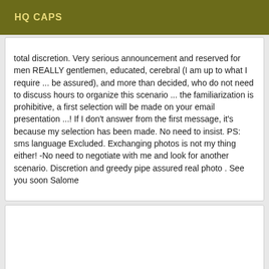HQ CAPS
total discretion. Very serious announcement and reserved for men REALLY gentlemen, educated, cerebral (I am up to what I require ... be assured), and more than decided, who do not need to discuss hours to organize this scenario ... the familiarization is prohibitive, a first selection will be made on your email presentation ...! If I don't answer from the first message, it's because my selection has been made. No need to insist. PS: sms language Excluded. Exchanging photos is not my thing either! -No need to negotiate with me and look for another scenario. Discretion and greedy pipe assured real photo . See you soon Salome
[Figure (other): Empty white card/box below the text card]